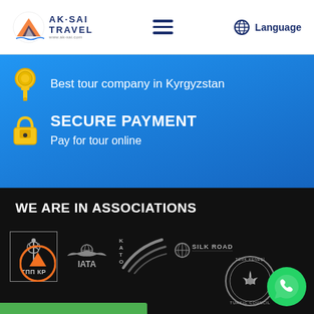[Figure (logo): Ak-Sai Travel logo with mountain graphic and company name]
[Figure (illustration): Hamburger menu icon (three horizontal lines)]
Language
Best tour company in Kyrgyzstan
SECURE PAYMENT
Pay for tour online
WE ARE IN ASSOCIATIONS
[Figure (logo): ТПП КР logo in gray bordered square]
[Figure (logo): IATA logo in gray]
[Figure (logo): KATO logo with swoosh graphic]
[Figure (logo): Silk Road logo]
[Figure (logo): Turkic Council circular logo]
[Figure (illustration): Orange circle with upward arrow (scroll to top button)]
[Figure (illustration): Green WhatsApp button]